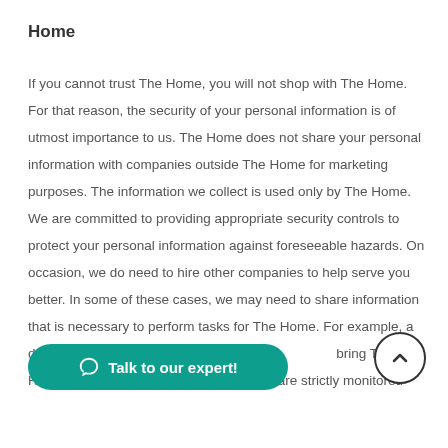Home
If you cannot trust The Home, you will not shop with The Home. For that reason, the security of your personal information is of utmost importance to us. The Home does not share your personal information with companies outside The Home for marketing purposes. The information we collect is used only by The Home. We are committed to providing appropriate security controls to protect your personal information against foreseeable hazards. On occasion, we do need to hire other companies to help serve you better. In some of these cases, we may need to share information that is necessary to perform tasks for The Home. For example, a delivery service will need to know your address to bring The Home products to you. These companies are strictly monitored